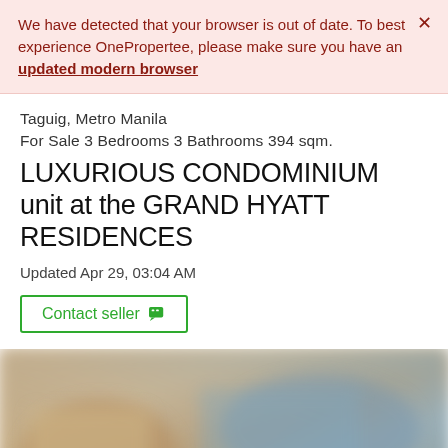We have detected that your browser is out of date. To best experience OnePropertee, please make sure you have an updated modern browser
Taguig, Metro Manila
For Sale 3 Bedrooms 3 Bathrooms 394 sqm.
LUXURIOUS CONDOMINIUM unit at the GRAND HYATT RESIDENCES
Updated Apr 29, 03:04 AM
Contact seller
[Figure (photo): Blurred interior photo of a luxury condominium unit at Grand Hyatt Residences, showing a living area with beige/tan tones and blue accent colors in the background.]